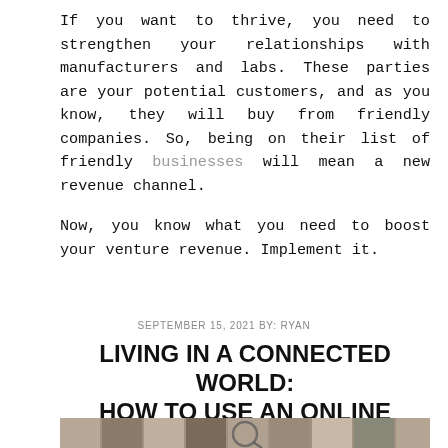If you want to thrive, you need to strengthen your relationships with manufacturers and labs. These parties are your potential customers, and as you know, they will buy from friendly companies. So, being on their list of friendly businesses will mean a new revenue channel.
Now, you know what you need to boost your venture revenue. Implement it.
SEPTEMBER 15, 2021 BY: RYAN
LIVING IN A CONNECTED WORLD: HOW TO USE AN ONLINE PEOPLE SEARCH
[Figure (photo): A collage of many faces/portraits with a magnifying glass overlaid, suggesting a people search theme.]